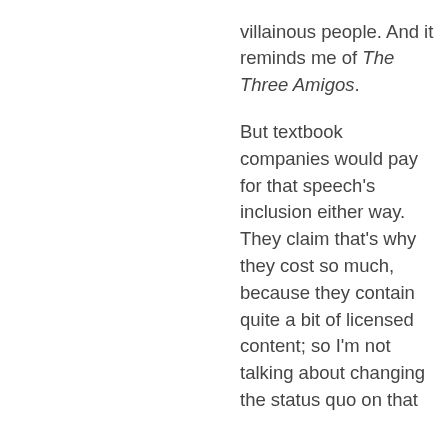villainous people. And it reminds me of The Three Amigos.
But textbook companies would pay for that speech's inclusion either way. They claim that's why they cost so much, because they contain quite a bit of licensed content; so I'm not talking about changing the status quo on that